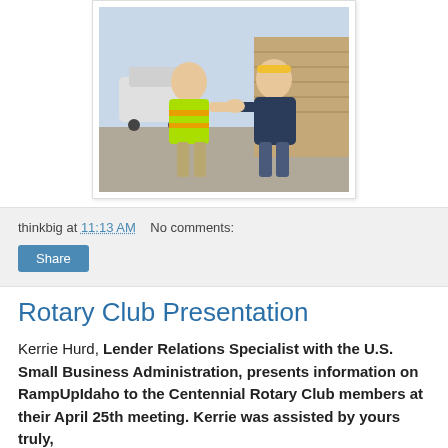[Figure (photo): Two men shaking hands outdoors. The man on the left wears a bright green safety vest with orange reflective stripes. The man on the right wears a dark navy hoodie and has yellow headphones around his neck. They are standing on a sidewalk in front of a brick building. A white SUV is visible in the background.]
thinkbig at 11:13 AM   No comments:
Share
Rotary Club Presentation
Kerrie Hurd, Lender Relations Specialist with the U.S. Small Business Administration, presents information on RampUpIdaho to the Centennial Rotary Club members at their April 25th meeting. Kerrie was assisted by yours truly,